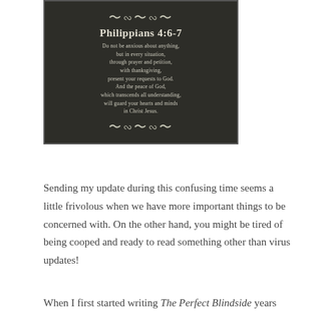[Figure (illustration): Dark chalkboard-style image with decorative scrollwork ornaments at top and bottom. Contains the text 'Philippians 4:6-7' as a title and the Bible verse: 'Do not be anxious about anything, but in every situation, through prayer and petition, with thanksgiving, present your requests to God. And the peace of God, which transcends all understanding, will guard your hearts and minds in Christ Jesus.']
Sending my update during this confusing time seems a little frivolous when we have more important things to be concerned with. On the other hand, you might be tired of being cooped and ready to read something other than virus updates!
When I first started writing The Perfect Blindside years